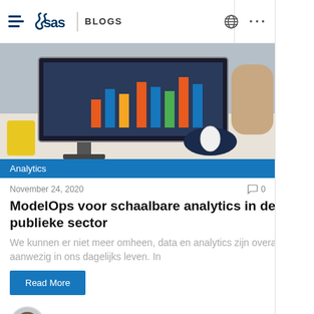SAS BLOGS
[Figure (photo): Person working at a desk with a monitor showing analytics dashboards with colorful bar charts]
Analytics
November 24, 2020
ModelOps voor schaalbare analytics in de publieke sector
We kunnen er niet meer omheen, data en analytics zijn overal aanwezig in ons dagelijks leven. In
Read More
Mathias Coopmans